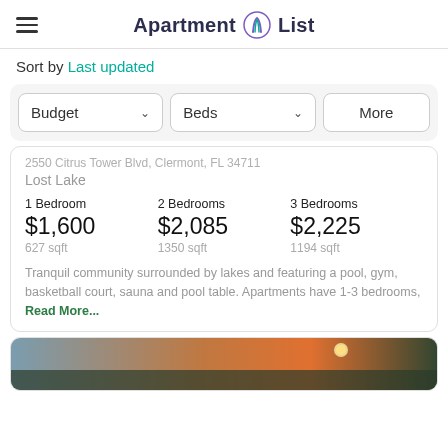Apartment List
Sort by Last updated
Budget  Beds  More
2550 Citrus Tower Blvd, Clermont, FL 34711
Lost Lake
| 1 Bedroom | 2 Bedrooms | 3 Bedrooms |
| --- | --- | --- |
| $1,600 | $2,085 | $2,225 |
| 627 sqft | 1350 sqft | 1194 sqft |
Tranquil community surrounded by lakes and featuring a pool, gym, basketball court, sauna and pool table. Apartments have 1-3 bedrooms. Read More...
[Figure (photo): Bottom of next listing card showing a scenic outdoor photo with sunset/orange sky and trees]